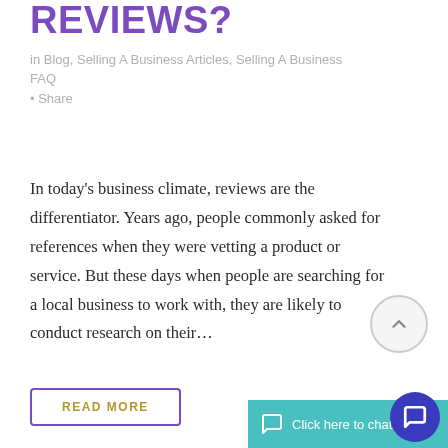REVIEWS?
in Blog, Selling A Business Articles, Selling A Business FAQ
• Share
In today's business climate, reviews are the differentiator.  Years ago, people commonly asked for references when they were vetting a product or service.  But these days when people are searching for a local business to work with, they are likely to conduct research on their…
READ MORE